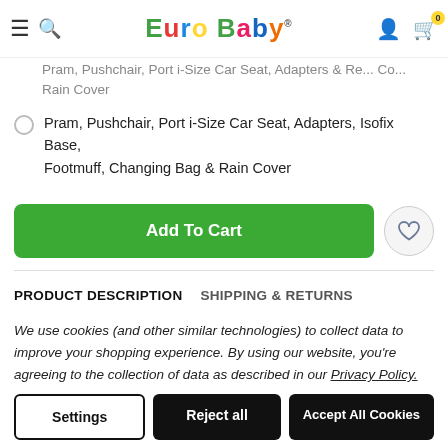Euro Baby
Pram, Pushchair, Port i-Size Car Seat, Adapters, Isofix Base & Rain Cover
Pram, Pushchair, Port i-Size Car Seat, Adapters, Isofix Base, Footmuff, Changing Bag & Rain Cover
Add To Cart
PRODUCT DESCRIPTION   SHIPPING & RETURNS
We use cookies (and other similar technologies) to collect data to improve your shopping experience. By using our website, you're agreeing to the collection of data as described in our Privacy Policy.
Settings | Reject all | Accept All Cookies